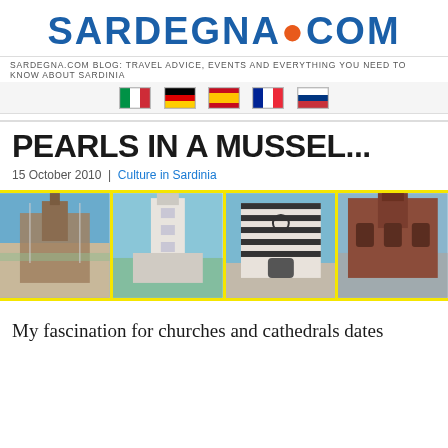SARDEGNA.COM
SARDEGNA.COM BLOG: TRAVEL ADVICE, EVENTS AND EVERYTHING YOU NEED TO KNOW ABOUT SARDINIA
[Figure (other): Row of five national flag icons: Italian, German, Spanish, French, Russian]
PEARLS IN A MUSSEL...
15 October 2010 | Culture in Sardinia
[Figure (photo): Strip of four photographs of Sardinian Romanesque churches and cathedrals, bordered in yellow]
My fascination for churches and cathedrals dates